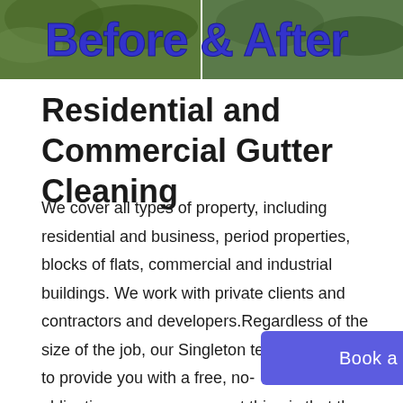[Figure (photo): Before and After banner image showing gutter cleaning work, with bold blue text reading 'Before & After' overlaid on nature/outdoor background photos]
Residential and Commercial Gutter Cleaning
We cover all types of property, including residential and business, period properties, blocks of flats, commercial and industrial buildings. We work with private clients and contractors and developers.Regardless of the size of the job, our Singleton team will be happy to provide you with a free, no-obligation [Book a Clean button] nt thing is that the price we quo y. There are no